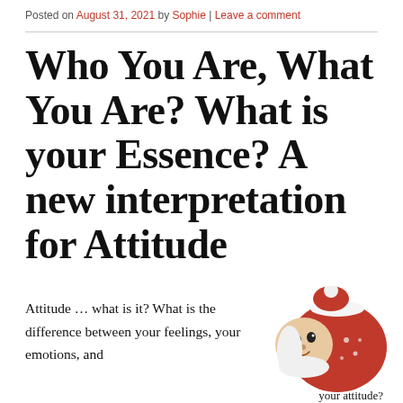Posted on August 31, 2021 by Sophie | Leave a comment
Who You Are, What You Are? What is your Essence? A new interpretation for Attitude
Attitude … what is it? What is the difference between your feelings, your emotions, and
[Figure (illustration): A small ceramic or plastic figurine of a Santa Claus character with a red hat and white trim, lying on its side, with a round face showing eyes and a small mouth.]
your attitude?